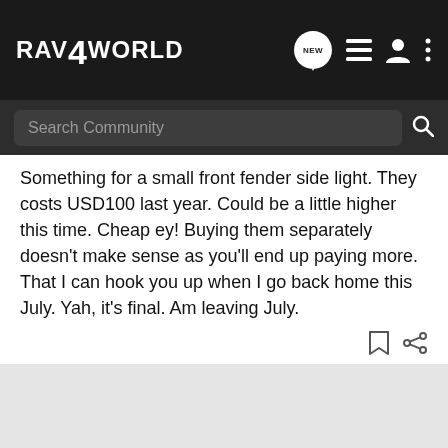RAV4WORLD
Something for a small front fender side light. They costs USD100 last year. Could be a little higher this time. Cheap ey! Buying them separately doesn't make sense as you'll end up paying more. That I can hook you up when I go back home this July. Yah, it's final. Am leaving July.
[Figure (screenshot): Advertisement banner for Pedal Commander: orange/black graphic with device image, Pedal Commander logo with star, and text 'WANNA INCREASE YOUR 0-60?']